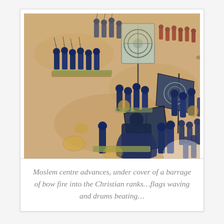[Figure (photo): A wargaming tabletop scene showing blue-painted miniature soldiers (Moslem forces) advancing across a sandy/tan terrain. Multiple units carry flags and banners. The figures are arranged in groups on bases, with various warriors carrying bows, spears, and shields. The scene depicts a medieval Islamic army advancing in formation.]
Moslem centre advances, under cover of a barrage of bow fire into the Christian ranks…flags waving and drums beating…